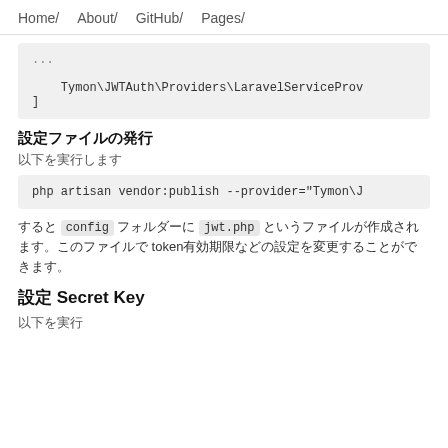Home/ About/ GitHub/ Pages/
...
    Tymon\JWTAuth\Providers\LaravelServiceProv
]
設定ファイルの発行
以下を実行します
php artisan vendor:publish --provider="Tymon\J
すると config フォルダーに jwt.php というファイルが作成されます。このファイルで token有効期限などの設定を変更することができます。
設定 Secret Key
以下を実行